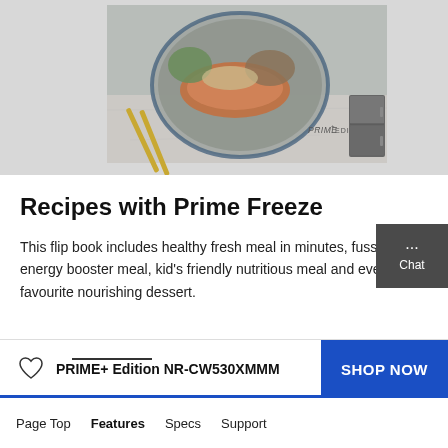[Figure (photo): A plate of cooked salmon with grains and vegetables, garnished with mushrooms, beside golden chopsticks on a marble surface. A Panasonic PRIME+ Edition refrigerator is shown in the bottom right corner of the image. Text 'PRIME+ EDITION' appears on the image.]
Recipes with Prime Freeze
This flip book includes healthy fresh meal in minutes, fuss-free energy booster meal, kid's friendly nutritious meal and everyday favourite nourishing dessert.
PRIME+ Edition NR-CW530XMMM
SHOP NOW
Page Top   Features   Specs   Support